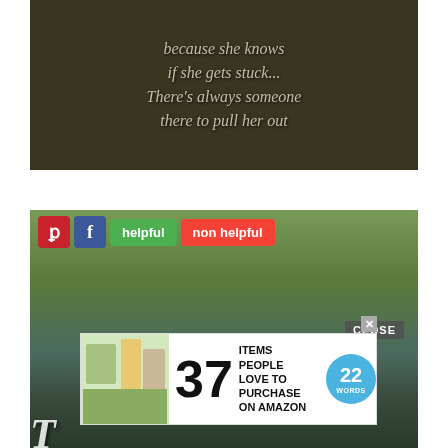[Figure (photo): Dark nature/foliage background with overlaid italic quote text reading: 'because she knows if she gets stuck... There's always someone there to pull her out']
[Figure (screenshot): Social media sharing buttons (Pinterest, Facebook), 'helpful' and 'non helpful' buttons overlaid on a forest/road photo with a crowd. An advertisement banner overlay shows '37 ITEMS PEOPLE LOVE TO PURCHASE ON AMAZON' with 22Words logo. Large italic white text 'To...' visible at bottom.]